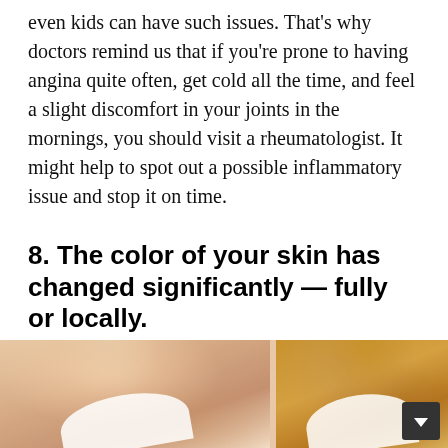even kids can have such issues. That's why doctors remind us that if you're prone to having angina quite often, get cold all the time, and feel a slight discomfort in your joints in the mornings, you should visit a rheumatologist. It might help to spot out a possible inflammatory issue and stop it on time.
8. The color of your skin has changed significantly — fully or locally.
[Figure (photo): Two side-by-side photos of a person's neck and upper arm area. The left photo shows normal skin tone (lighter), and the right photo shows significantly darkened/yellowed skin tone, illustrating skin color change.]